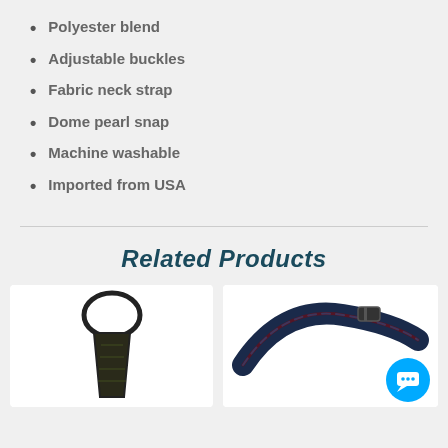Polyester blend
Adjustable buckles
Fabric neck strap
Dome pearl snap
Machine washable
Imported from USA
Related Products
[Figure (photo): A dark-colored zipper necktie on white background]
[Figure (photo): A dark plaid/tartan adjustable pet collar or strap on white background, with a blue chat bubble icon overlay]